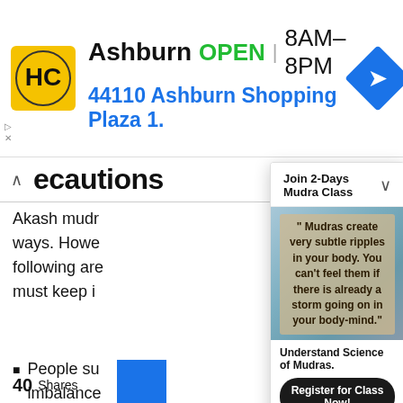[Figure (infographic): HC store advertisement banner: HC logo (yellow circle with HC text), store name Ashburn, OPEN status, hours 8AM-8PM, address 44110 Ashburn Shopping Plaza 1., blue navigation arrow icon]
ecautions
Akash mudr... ways. Howe... following are... must keep i...
People su... imbalance...
Do not pu...
[Figure (infographic): Popup overlay: Join 2-Days Mudra Class. Quote: Mudras create very subtle ripples in your body. You can't feel them if there is already a storm going on in your body-mind. Understand Science of Mudras. Register for Class Now! button. * Get early Bird Discount on Registration.]
40 Shares